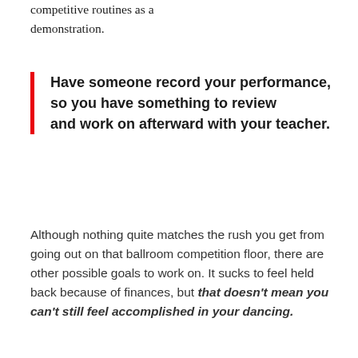competitive routines as a demonstration.
Have someone record your performance, so you have something to review and work on afterward with your teacher.
Although nothing quite matches the rush you get from going out on that ballroom competition floor, there are other possible goals to work on. It sucks to feel held back because of finances, but that doesn't mean you can't still feel accomplished in your dancing.